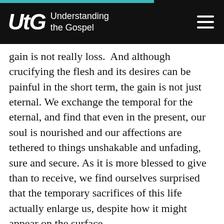Understanding the Gospel
gain is not really loss.  And although crucifying the flesh and its desires can be painful in the short term, the gain is not just eternal. We exchange the temporal for the eternal, and find that even in the present, our soul is nourished and our affections are tethered to things unshakable and unfading, sure and secure. As it is more blessed to give than to receive, we find ourselves surprised that the temporary sacrifices of this life actually enlarge us, despite how it might appear on the surface.
So life is a grand opportunity! Take what you have been given and offer it, invest it in eternity, use it to serve. True, you will lose every temporal thing you have ever been given, either suddenly or eventually, but could it